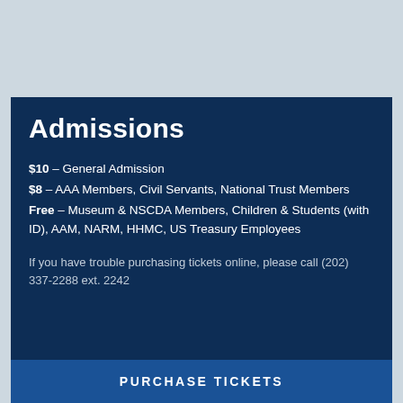Admissions
$10 – General Admission
$8 – AAA Members, Civil Servants, National Trust Members
Free – Museum & NSCDA Members, Children & Students (with ID), AAM, NARM, HHMC, US Treasury Employees
If you have trouble purchasing tickets online, please call (202) 337-2288 ext. 2242
Purchase Tickets